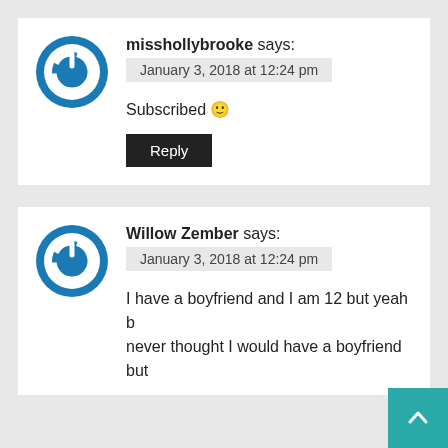misshollybrooke says:
January 3, 2018 at 12:24 pm
Subscribed 🙂
Reply
Willow Zember says:
January 3, 2018 at 12:24 pm
I have a boyfriend and I am 12 but yeah b never thought I would have a boyfriend but